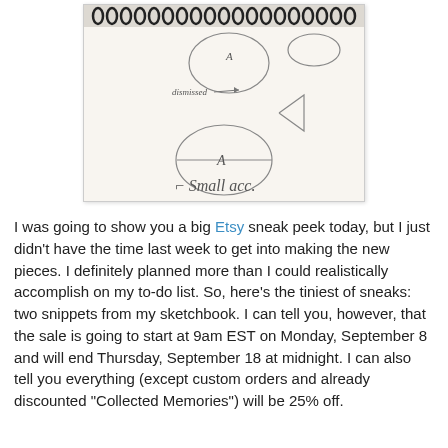[Figure (photo): Photo of an open spiral-bound sketchbook showing hand-drawn pencil sketches of circles and dome/hemisphere shapes with handwritten labels including 'A', 'dismissed', and 'Small acc...']
I was going to show you a big Etsy sneak peek today, but I just didn't have the time last week to get into making the new pieces. I definitely planned more than I could realistically accomplish on my to-do list. So, here's the tiniest of sneaks: two snippets from my sketchbook. I can tell you, however, that the sale is going to start at 9am EST on Monday, September 8 and will end Thursday, September 18 at midnight. I can also tell you everything (except custom orders and already discounted "Collected Memories") will be 25% off.